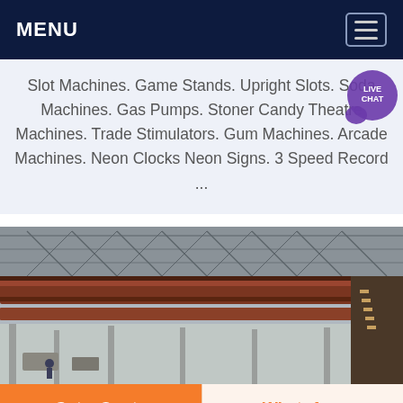MENU
Slot Machines. Game Stands. Upright Slots. Soda Machines. Gas Pumps. Stoner Candy Theatre Machines. Trade Stimulators. Gum Machines. Arcade Machines. Neon Clocks Neon Signs. 3 Speed Record ...
[Figure (photo): Industrial overhead crane inside a large factory building with metal trusses and structural steel framework visible]
Get a Quote
WhatsApp